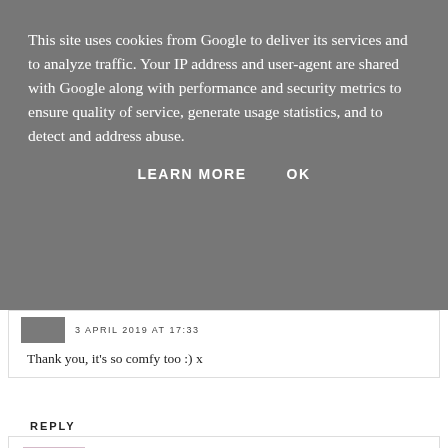This site uses cookies from Google to deliver its services and to analyze traffic. Your IP address and user-agent are shared with Google along with performance and security metrics to ensure quality of service, generate usage statistics, and to detect and address abuse.
LEARN MORE    OK
3 APRIL 2019 AT 17:33
Thank you, it's so comfy too :) x
REPLY
Gemma
3 APRIL 2019 AT 11:19
Such a great and positive post! Have a good week.